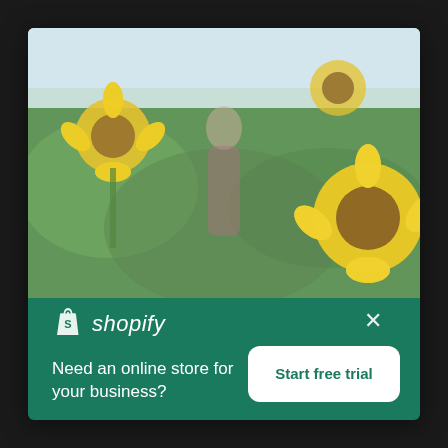[Figure (photo): A blurred photo of a person standing in a sunflower field. Large yellow sunflowers surround the figure against a light sky background.]
[Figure (logo): Shopify logo — white shopping bag icon with letter S, followed by italic white text 'shopify']
Need an online store for your business?
Start free trial